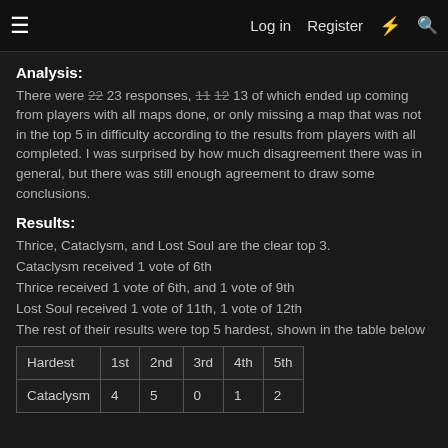≡   Log in   Register   ⚡   🔍
Analysis:
There were 22 23 responses, 11 12 13 of which ended up coming from players with all maps done, or only missing a map that was not in the top 5 in difficulty according to the results from players with all completed. I was surprised by how much disagreement there was in general, but there was still enough agreement to draw some conclusions.
Results:
Thrice, Cataclysm, and Lost Soul are the clear top 3.
Cataclysm received 1 vote of 6th
Thrice received 1 vote of 6th, and 1 vote of 9th
Lost Soul received 1 vote of 11th, 1 vote of 12th
The rest of their results were top 5 hardest, shown in the table below
| Hardest | 1st | 2nd | 3rd | 4th | 5th |
| --- | --- | --- | --- | --- | --- |
| Cataclysm | 4 | 5 | 0 | 1 | 2 |